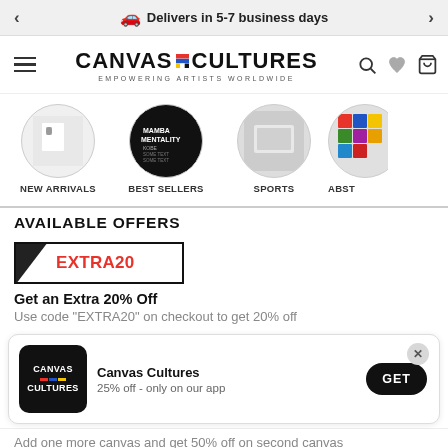Delivers in 5-7 business days
[Figure (logo): Canvas Cultures logo with tagline EMPOWERING ARTISTS WORLDWIDE]
[Figure (screenshot): Category circles: NEW ARRIVALS, BEST SELLERS, SPORTS, ABST (partial)]
AVAILABLE OFFERS
[Figure (other): Coupon code box with EXTRA20 in red]
Get an Extra 20% Off
Use code “EXTRA20” on checkout to get 20% off
[Figure (other): App download popup with Canvas Cultures logo, text '25% off - only on our app', and GET button]
Add one more canvas and get 50% off on second canvas